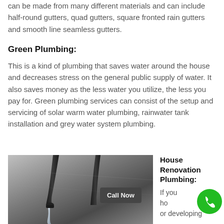can be made from many different materials and can include half-round gutters, quad gutters, square fronted rain gutters and smooth line seamless gutters.
Green Plumbing:
This is a kind of plumbing that saves water around the house and decreases stress on the general public supply of water. It also saves money as the less water you utilize, the less you pay for. Green plumbing services can consist of the setup and servicing of solar warm water plumbing, rainwater tank installation and grey water system plumbing.
[Figure (photo): Close-up photo of a kitchen or bathroom faucet with water running, viewed from the side against a metallic sink background. Two dark curved faucet necks visible with water stream.]
House Renovation Plumbing:
If you ho or developing
Call Now